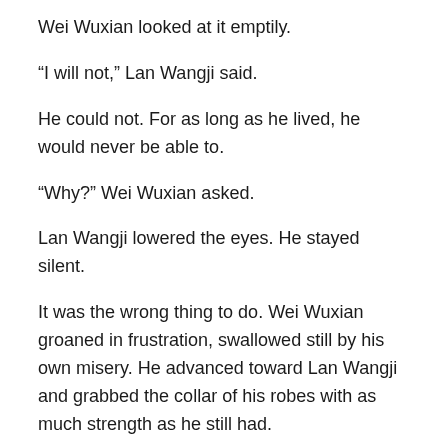Wei Wuxian looked at it emptily.
“I will not,” Lan Wangji said.
He could not. For as long as he lived, he would never be able to.
“Why?” Wei Wuxian asked.
Lan Wangji lowered the eyes. He stayed silent.
It was the wrong thing to do. Wei Wuxian groaned in frustration, swallowed still by his own misery. He advanced toward Lan Wangji and grabbed the collar of his robes with as much strength as he still had.
“Look at me,” he spat in Wangji’s face; and Lan Wangji obeyed wordlessly. He looked into those grey eyes, saw the circles under them, the crusted blood at Wei Wuxian’s